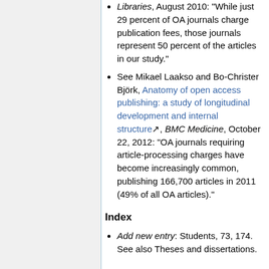Libraries, August 2010: "While just 29 percent of OA journals charge publication fees, those journals represent 50 percent of the articles in our study."
See Mikael Laakso and Bo-Christer Björk, Anatomy of open access publishing: a study of longitudinal development and internal structure, BMC Medicine, October 22, 2012: "OA journals requiring article-processing charges have become increasingly common, publishing 166,700 articles in 2011 (49% of all OA articles)."
Index
Add new entry: Students, 73, 174. See also Theses and dissertations.